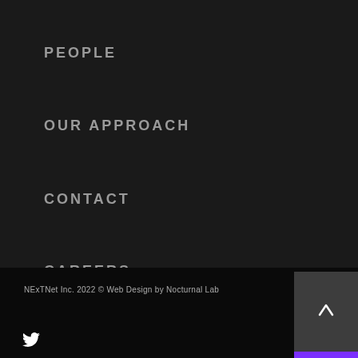PEOPLE
OUR APPROACH
CONTACT
CAREERS
NExTNet Inc. 2022 © Web Design by Nocturnal Lab